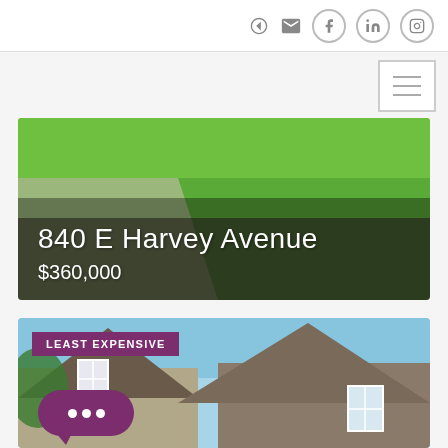Navigation icons: login, email, Facebook, LinkedIn, Instagram; hamburger menu
[Figure (photo): Property listing photo showing green lawn with sidewalk, overlaid with address '840 E Harvey Avenue' and price '$360,000']
840 E Harvey Avenue
$360,000
[Figure (photo): Property listing photo showing house rooftop with beige/tan siding against blue sky, with 'LEAST EXPENSIVE' badge and chat bubble widget]
LEAST EXPENSIVE